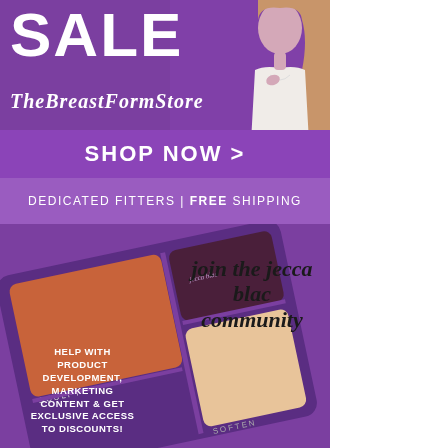[Figure (infographic): The Breast Form Store advertisement banner with purple background, 'SALE' text, woman photo, brand script logo, 'SHOP NOW >' button bar, and 'DEDICATED FITTERS | FREE SHIPPING' bar]
[Figure (infographic): Jecca Blac makeup palette advertisement with purple compact palette showing sculpt, soften sections, text 'join the jecca blac community' and 'HELP WITH PRODUCT DEVELOPMENT, MARKETING CONTENT & GET EXCLUSIVE ACCESS TO DISCOUNTS!']